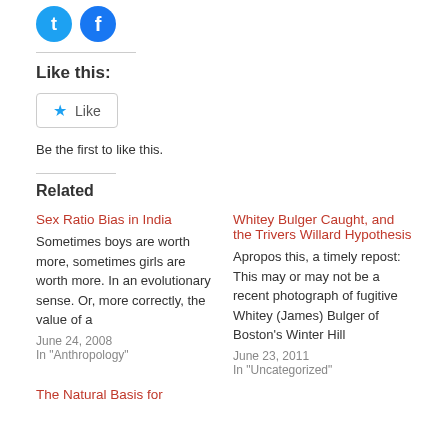[Figure (illustration): Two circular social media icons: Twitter (blue bird) and Facebook (blue f)]
Like this:
[Figure (illustration): Like button with star icon]
Be the first to like this.
Related
Sex Ratio Bias in India
Sometimes boys are worth more, sometimes girls are worth more. In an evolutionary sense. Or, more correctly, the value of a
June 24, 2008
In "Anthropology"
Whitey Bulger Caught, and the Trivers Willard Hypothesis
Apropos this, a timely repost: This may or may not be a recent photograph of fugitive Whitey (James) Bulger of Boston's Winter Hill
June 23, 2011
In "Uncategorized"
The Natural Basis for